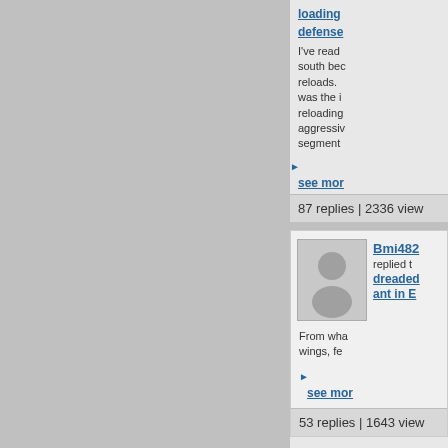loading defense (truncated link text)
I've read south bec reloads. was the i reloading aggressiv segment
see more
87 replies | 2336 view
[Figure (illustration): User avatar placeholder icon showing a silhouette of a person on grey background]
Bmi482
replied t
dreaded ant in E (truncated thread link)
From wha wings, fe
see more
53 replies | 1643 view